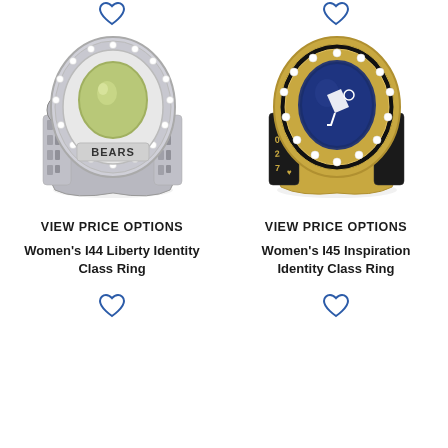[Figure (photo): Silver women's class ring with green stone and BEARS inscription, surrounded by small diamonds]
VIEW PRICE OPTIONS
Women's I44 Liberty Identity Class Ring
[Figure (photo): Gold women's class ring with blue stone and cheerleader emblem, surrounded by diamonds, year 2027]
VIEW PRICE OPTIONS
Women's I45 Inspiration Identity Class Ring
[Figure (photo): Partial view of silver women's class ring at bottom left]
[Figure (photo): Partial view of silver women's class ring at bottom right]